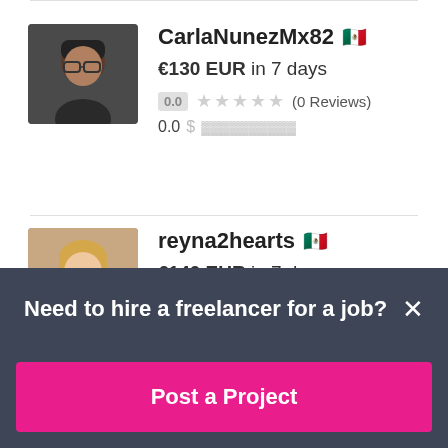[Figure (photo): Profile photo of CarlaNunezMx82 — woman with dark hair and glasses]
CarlaNunezMx82 🇲🇽
€130 EUR in 7 days
0.0 ★★★★★ (0 Reviews)
0.0 $ ██████████
[Figure (photo): Profile photo of reyna2hearts — woman with light hair]
reyna2hearts 🇲🇽
€140 EUR in 7 days
Need to hire a freelancer for a job?
Post a Project